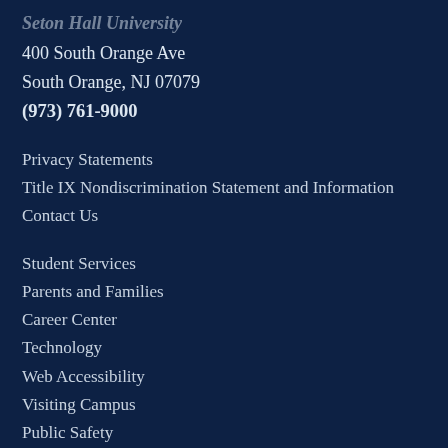Seton Hall University
400 South Orange Ave
South Orange, NJ 07079
(973) 761-9000
Privacy Statements
Title IX Nondiscrimination Statement and Information
Contact Us
Student Services
Parents and Families
Career Center
Technology
Web Accessibility
Visiting Campus
Public Safety
Disability Support Services
Campus Security Report
Employment